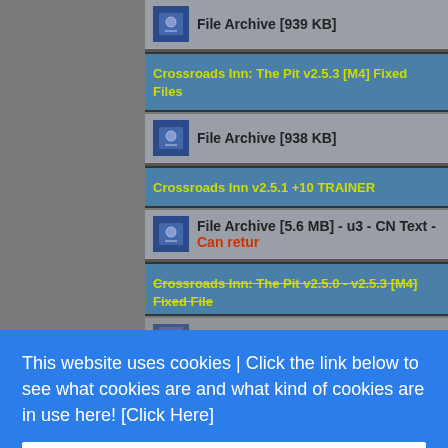File Archive [939 KB]
Crossroads Inn: The Pit v2.5.3 [M4] Fixed Files
File Archive [938 KB]
Crossroads Inn v2.5.1 +10 TRAINER
File Archive [5.6 MB] - u3 - CN Text - Can retur...
Crossroads Inn: The Pit v2.5.0 - v2.5.3 [M4] Fixed Files
File Archive [940 KB]
Crossroads Inn v2.5.0 - v2.4.0 [M...
File Archive [940 KB]
This website uses cookies | Click the link below to see what cookies are and what kind of cookies are in use here!  [Click Here]
Got it!